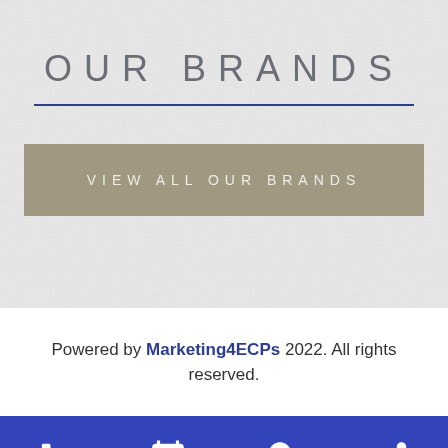OUR BRANDS
VIEW ALL OUR BRANDS
Powered by Marketing4ECPs 2022. All rights reserved.
[Figure (infographic): Footer navigation bar with four icons: phone, calendar, map pin, and share]